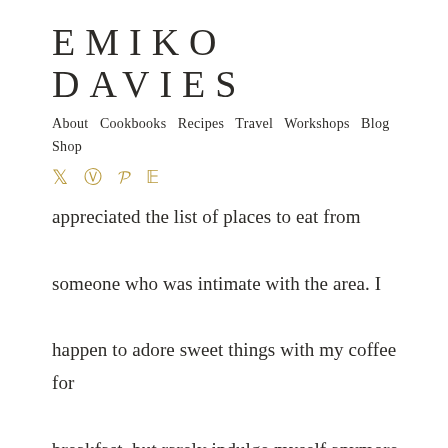EMIKO DAVIES
About  Cookbooks  Recipes  Travel  Workshops  Blog  Shop
appreciated the list of places to eat from someone who was intimate with the area. I happen to adore sweet things with my coffee for breakfast, but rarely indulge myself anymore, except for Saturdays, unfortunately. Cherries are in season here in Turkey right now, so I'm excited to finally make this...after lusting over the recipe for a year or so...